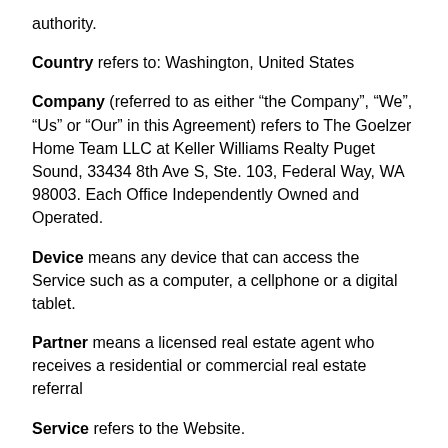authority.
Country refers to: Washington, United States
Company (referred to as either “the Company”, “We”, “Us” or “Our” in this Agreement) refers to The Goelzer Home Team LLC at Keller Williams Realty Puget Sound, 33434 8th Ave S, Ste. 103, Federal Way, WA 98003. Each Office Independently Owned and Operated.
Device means any device that can access the Service such as a computer, a cellphone or a digital tablet.
Partner means a licensed real estate agent who receives a residential or commercial real estate referral
Service refers to the Website.
Terms and Conditions (also referred as “Terms”) mean these Terms and Conditions that form the entire agreement between You and the Company regarding